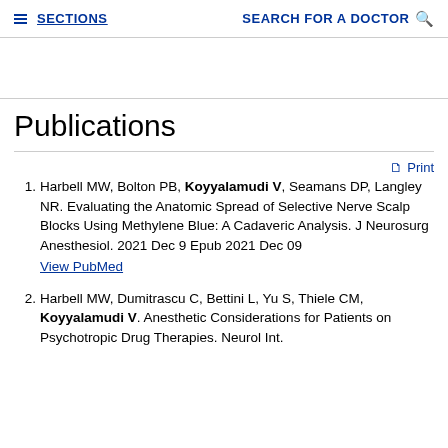≡ SECTIONS   SEARCH FOR A DOCTOR 🔍
Publications
Harbell MW, Bolton PB, Koyyalamudi V, Seamans DP, Langley NR. Evaluating the Anatomic Spread of Selective Nerve Scalp Blocks Using Methylene Blue: A Cadaveric Analysis. J Neurosurg Anesthesiol. 2021 Dec 9 Epub 2021 Dec 09 View PubMed
Harbell MW, Dumitrascu C, Bettini L, Yu S, Thiele CM, Koyyalamudi V. Anesthetic Considerations for Patients on Psychotropic Drug Therapies. Neurol Int.